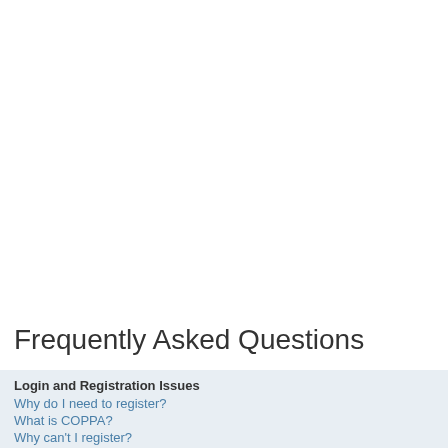Frequently Asked Questions
Login and Registration Issues
Why do I need to register?
What is COPPA?
Why can't I register?
I registered but cannot login!